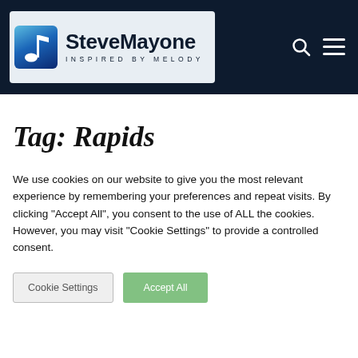[Figure (logo): SteveMayone 'Inspired by Melody' logo with musical note icon on dark navy header background]
Tag: Rapids
We use cookies on our website to give you the most relevant experience by remembering your preferences and repeat visits. By clicking "Accept All", you consent to the use of ALL the cookies. However, you may visit "Cookie Settings" to provide a controlled consent.